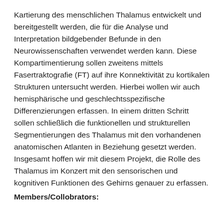Kartierung des menschlichen Thalamus entwickelt und bereitgestellt werden, die für die Analyse und Interpretation bildgebender Befunde in den Neurowissenschaften verwendet werden kann. Diese Kompartimentierung sollen zweitens mittels Fasertraktografie (FT) auf ihre Konnektivität zu kortikalen Strukturen untersucht werden. Hierbei wollen wir auch hemisphärische und geschlechtsspezifische Differenzierungen erfassen. In einem dritten Schritt sollen schließlich die funktionellen und strukturellen Segmentierungen des Thalamus mit den vorhandenen anatomischen Atlanten in Beziehung gesetzt werden. Insgesamt hoffen wir mit diesem Projekt, die Rolle des Thalamus im Konzert mit den sensorischen und kognitiven Funktionen des Gehirns genauer zu erfassen.
Members/Collobrators: